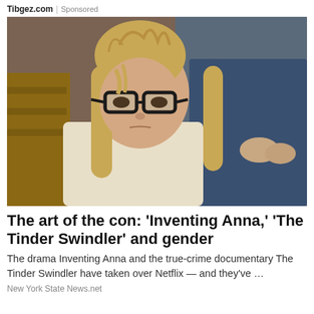Tibgez.com | Sponsored
[Figure (photo): A young woman with long blonde hair and thick black-rimmed glasses, wearing a cream-colored top, sitting in what appears to be a courtroom. A police officer in a blue uniform stands behind her.]
The art of the con: 'Inventing Anna,' 'The Tinder Swindler' and gender
The drama Inventing Anna and the true-crime documentary The Tinder Swindler have taken over Netflix — and they've …
New York State News.net